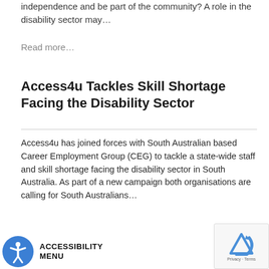independence and be part of the community? A role in the disability sector may…
Read more…
Access4u Tackles Skill Shortage Facing the Disability Sector
Access4u has joined forces with South Australian based Career Employment Group (CEG) to tackle a state-wide staff and skill shortage facing the disability sector in South Australia. As part of a new campaign both organisations are calling for South Australians…
[Figure (logo): Accessibility menu button with blue circle icon of person with arms outstretched and text ACCESSIBILITY MENU]
[Figure (logo): reCAPTCHA logo with Privacy and Terms text]